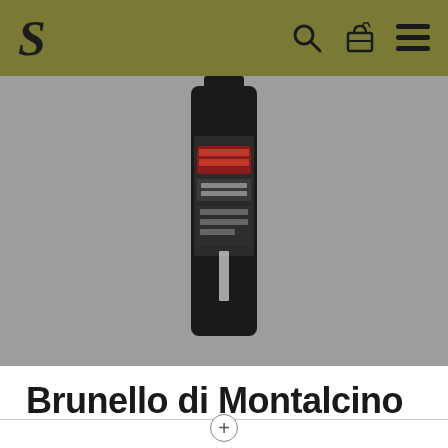S [navigation bar with search, cart, and menu icons]
[Figure (photo): Wine bottle of Brunello di Montalcino DOCG 2016 by Il Poggione, shown against a grey background. Dark bottle with red and black label.]
Brunello di Montalcino DOCG 2016
Il Poggione | Toskana
Der Brunello di Montalcino 2016 ist eine atemberaubende Kreation aus einem ikonischen Jahrgang. Es war das ideale Jahr für den Sangiovese, seine komplette und wahre Magie zu zeigen. Man spürt die tiefe innere Kraft und Integrität der Frucht